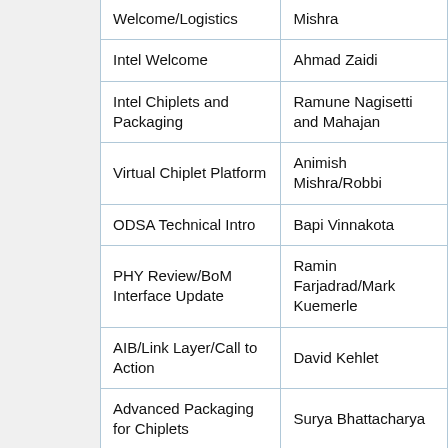| Topic | Speaker |
| --- | --- |
| Welcome/Logistics | Mishra |
| Intel Welcome | Ahmad Zaidi |
| Intel Chiplets and Packaging | Ramune Nagisetti and Mahajan |
| Virtual Chiplet Platform | Animish Mishra/Robbi |
| ODSA Technical Intro | Bapi Vinnakota |
| PHY Review/BoM Interface Update | Ramin Farjadrad/Mark Kuemerle |
| AIB/Link Layer/Call to Action | David Kehlet |
| Advanced Packaging for Chiplets | Surya Bhattacharya |
| Chiplet Design Experience | Panel |
| CDX - Chiplet Design Exchange | Jawad Nasrullah/Alex |
| Chiplet Microassembly Printer & Microsprings | Eugene Chow |